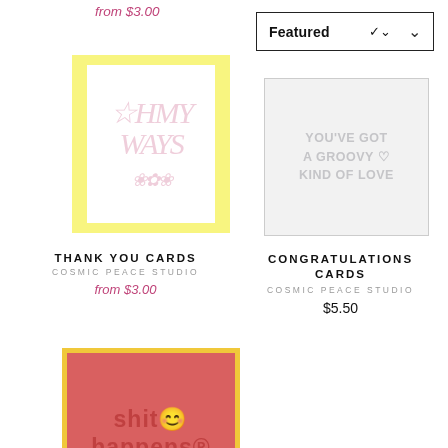from $3.00
Featured
[Figure (illustration): Thank You greeting card with floral/botanical watercolor design, yellow border, white background]
[Figure (illustration): Congratulations card with groovy retro text reading YOU'VE GOT A GROOVY KIND OF LOVE, gray border, light background]
THANK YOU CARDS
COSMIC PEACE STUDIO
from $3.00
CONGRATULATIONS CARDS
COSMIC PEACE STUDIO
$5.50
[Figure (illustration): Salmon/pink greeting card with yellow border and text reading 'shit happens' with smiley face emoji in retro style]